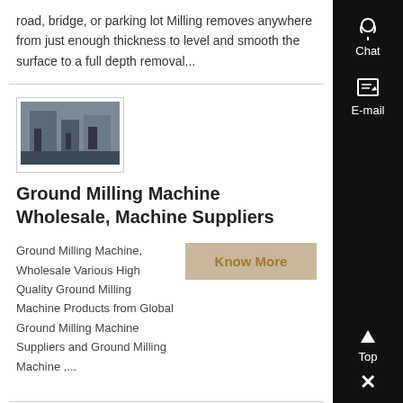road, bridge, or parking lot Milling removes anywhere from just enough thickness to level and smooth the surface to a full depth removal...
[Figure (photo): Thumbnail photo of a ground milling machine in operation]
Ground Milling Machine Wholesale, Machine Suppliers
Ground Milling Machine, Wholesale Various High Quality Ground Milling Machine Products from Global Ground Milling Machine Suppliers and Ground Milling Machine ,...
[Figure (photo): Thumbnail photo at the bottom of the page showing machinery]